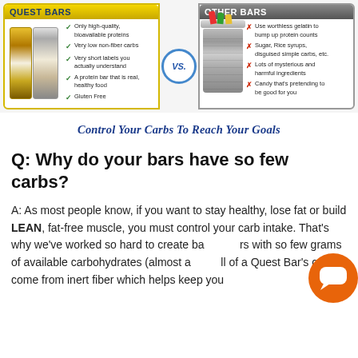[Figure (infographic): Two-panel comparison infographic: Quest Bars (left, yellow header) vs Other Bars (right, gray header), with VS circle in the middle. Quest Bars shows checkmarks for positive qualities; Other Bars shows X marks for negative qualities.]
Control Your Carbs To Reach Your Goals
Q: Why do your bars have so few carbs?
A: As most people know, if you want to stay healthy, lose fat or build LEAN, fat-free muscle, you must control your carb intake. That's why we've worked so hard to create bars with so few grams of available carbohydrates (almost all of a Quest Bar's carbs come from inert fiber which helps keep you